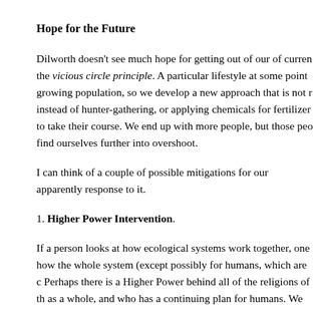Hope for the Future
Dilworth doesn't see much hope for getting out of our of current the vicious circle principle. A particular lifestyle at some point growing population, so we develop a new approach that is not r instead of hunter-gathering, or applying chemicals for fertilizer to take their course. We end up with more people, but those peo find ourselves further into overshoot.
I can think of a couple of possible mitigations for our apparently response to it.
1. Higher Power Intervention.
If a person looks at how ecological systems work together, one how the whole system (except possibly for humans, which are c Perhaps there is a Higher Power behind all of the religions of th as a whole, and who has a continuing plan for humans. We cann